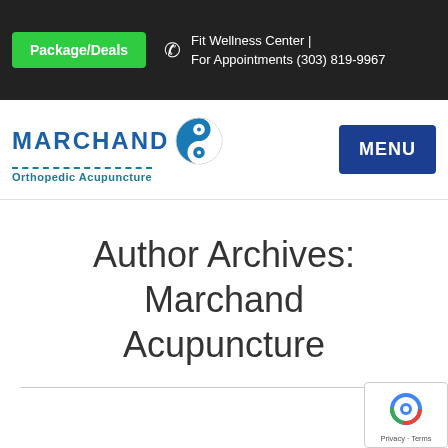Package/Deals | Fit Wellness Center | For Appointments (303) 819-9967
[Figure (logo): Marchand Orthopedic Acupuncture logo with yin-yang symbol and MENU button]
Author Archives: Marchand Acupuncture